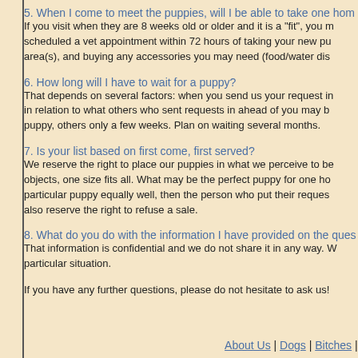5. When I come to meet the puppies, will I be able to take one home?
If you visit when they are 8 weeks old or older and it is a "fit", you may be able to take a puppy home the same day, provided you have scheduled a vet appointment within 72 hours of taking your new puppy home, have already set up your puppy area(s), and buying any accessories you may need (food/water dis...
6. How long will I have to wait for a puppy?
That depends on several factors: when you send us your request in relation to what others who sent requests in ahead of you may be... puppy, others only a few weeks. Plan on waiting several months.
7. Is your list based on first come, first served?
We reserve the right to place our puppies in what we perceive to be... objects, one size fits all. What may be the perfect puppy for one ho... particular puppy equally well, then the person who put their reques... also reserve the right to refuse a sale.
8. What do you do with the information I have provided on the ques...
That information is confidential and we do not share it in any way. W... particular situation.
If you have any further questions, please do not hesitate to ask us!
About Us | Dogs | Bitches | Litte...